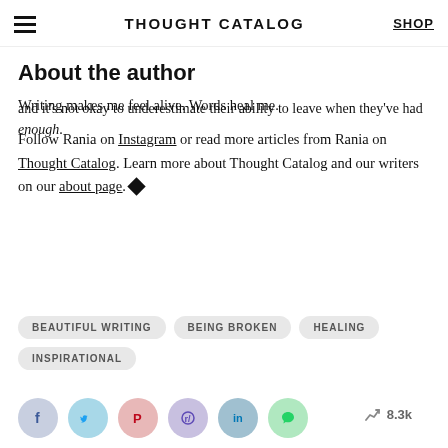THOUGHT CATALOG | SHOP
and it's not okay to underestimate their ability to leave when they've had enough.
About the author
Writing makes me feel alive. Words heal me.
Follow Rania on Instagram or read more articles from Rania on Thought Catalog. Learn more about Thought Catalog and our writers on our about page. ◆
BEAUTIFUL WRITING
BEING BROKEN
HEALING
INSPIRATIONAL
[Figure (infographic): Social sharing icons: Facebook, Twitter, Pinterest, Reddit, LinkedIn, Message. Trending count: 8.3k]